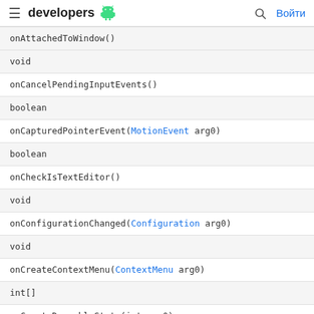developers
| onAttachedToWindow() |
| void |
| onCancelPendingInputEvents() |
| boolean |
| onCapturedPointerEvent(MotionEvent arg0) |
| boolean |
| onCheckIsTextEditor() |
| void |
| onConfigurationChanged(Configuration arg0) |
| void |
| onCreateContextMenu(ContextMenu arg0) |
| int[] |
| onCreateDrawableState(int arg0) |
| InputConnection |